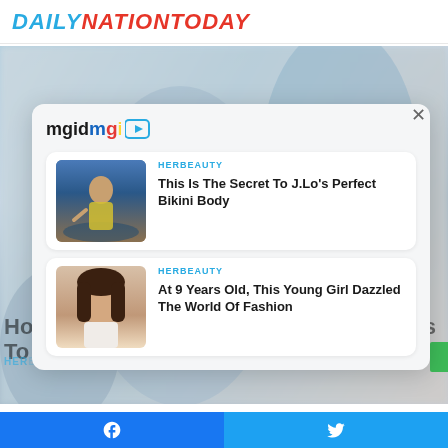DAILYNATIONTODAY
[Figure (screenshot): Hero background image showing a blurred couple in a bright indoor/outdoor setting]
[Figure (logo): mgid logo with colorful letters and play button icon]
[Figure (photo): Woman in yellow bikini sitting on a boat with ocean behind her]
HERBEAUTY
This Is The Secret To J.Lo's Perfect Bikini Body
[Figure (photo): Young brunette girl close-up portrait]
HERBEAUTY
At 9 Years Old, This Young Girl Dazzled The World Of Fashion
Facebook share | Twitter share